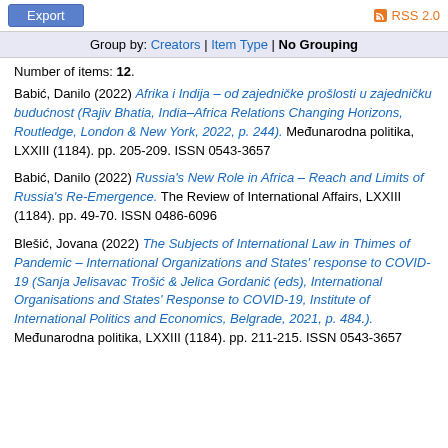Export | RSS 2.0
Group by: Creators | Item Type | No Grouping
Number of items: 12.
Babić, Danilo (2022) Afrika i Indija – od zajedničke prošlosti u zajedničku budućnost (Rajiv Bhatia, India–Africa Relations Changing Horizons, Routledge, London & New York, 2022, p. 244). Međunarodna politika, LXXIII (1184). pp. 205-209. ISSN 0543-3657
Babić, Danilo (2022) Russia's New Role in Africa – Reach and Limits of Russia's Re-Emergence. The Review of International Affairs, LXXIII (1184). pp. 49-70. ISSN 0486-6096
Blešić, Jovana (2022) The Subjects of International Law in Thimes of Pandemic – International Organizations and States' response to COVID-19 (Sanja Jelisavac Trošić & Jelica Gordanić (eds), International Organisations and States' Response to COVID-19, Institute of International Politics and Economics, Belgrade, 2021, p. 484.). Međunarodna politika, LXXIII (1184). pp. 211-215. ISSN 0543-3657